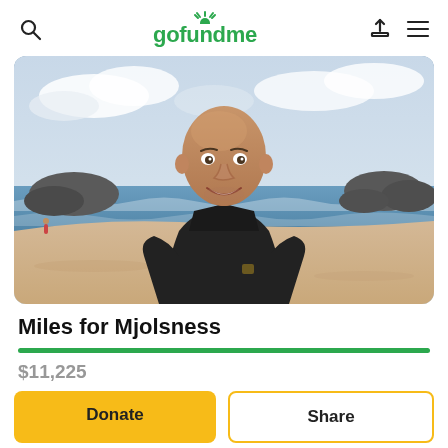gofundme
[Figure (photo): A smiling bald man wearing a black long-sleeve shirt standing on a beach with rocky outcrops, sand, ocean waves, and a cloudy sky in the background.]
Miles for Mjolsness
$11,225
Donate
Share